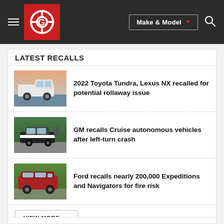[Figure (screenshot): Car Gurus website navigation bar with hamburger menu, red Car Gurus logo, Make & Model dropdown button, and search icon on dark background]
LATEST RECALLS
[Figure (photo): White 2022 Toyota Tundra pickup truck at dusk/sunset]
2022 Toyota Tundra, Lexus NX recalled for potential rollaway issue
[Figure (photo): GM Cruise autonomous vehicle, black and white self-driving car on street]
GM recalls Cruise autonomous vehicles after left-turn crash
[Figure (photo): Red Ford Expedition SUV parked outdoors]
Ford recalls nearly 200,000 Expeditions and Navigators for fire risk
VIEW MORE →